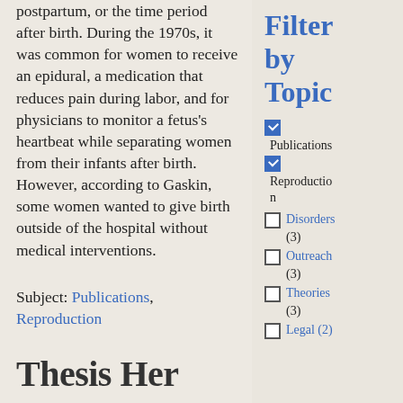postpartum, or the time period after birth. During the 1970s, it was common for women to receive an epidural, a medication that reduces pain during labor, and for physicians to monitor a fetus's heartbeat while separating women from their infants after birth. However, according to Gaskin, some women wanted to give birth outside of the hospital without medical interventions.
Subject: Publications, Reproduction
Thesis Her...
Filter by Topic
Publications (checked)
Reproduction (checked)
Disorders (3)
Outreach (3)
Theories (3)
Legal (2)